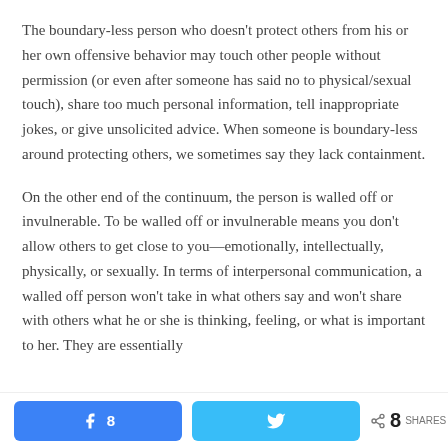The boundary-less person who doesn't protect others from his or her own offensive behavior may touch other people without permission (or even after someone has said no to physical/sexual touch), share too much personal information, tell inappropriate jokes, or give unsolicited advice. When someone is boundary-less around protecting others, we sometimes say they lack containment.
On the other end of the continuum, the person is walled off or invulnerable. To be walled off or invulnerable means you don't allow others to get close to you—emotionally, intellectually, physically, or sexually. In terms of interpersonal communication, a walled off person won't take in what others say and won't share with others what he or she is thinking, feeling, or what is important to her. They are essentially